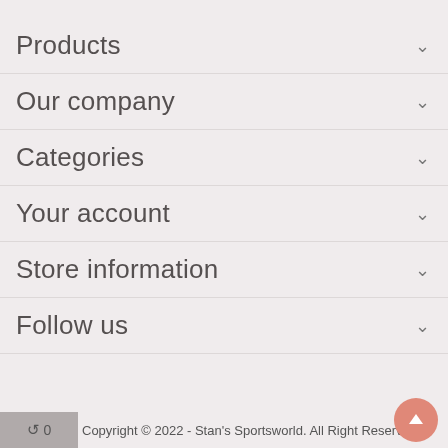Products
Our company
Categories
Your account
Store information
Follow us
⟳ 0 Copyright © 2022 - Stan's Sportsworld. All Right Reserved